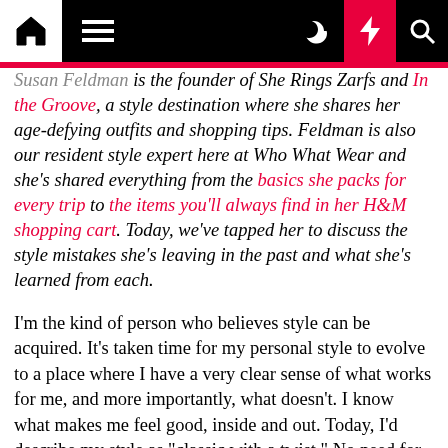Navigation bar with home, menu, moon, bolt, and search icons
Susan Feldman is the founder of She Rings Zarfs and In the Groove, a style destination where she shares her age-defying outfits and shopping tips. Feldman is also our resident style expert here at Who What Wear and she's shared everything from the basics she packs for every trip to the items you'll always find in her H&M shopping cart. Today, we've tapped her to discuss the style mistakes she's leaving in the past and what she's learned from each.
I'm the kind of person who believes style can be acquired. It's taken time for my personal style to evolve to a place where I have a very clear sense of what works for me, and more importantly, what doesn't. I know what makes me feel good, inside and out. Today, I'd describe my style as "classic with a twist." No need for me to go chasing after fashion trends. I make sure to invest in pieces that will work